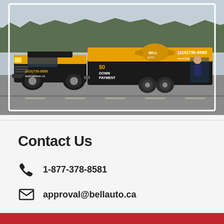[Figure (photo): A yellow and black branded Hummer H3 SUV towing a large branded trailer on a highway. Both the vehicle and trailer display Bell Auto branding with phone number (416)736-8880, website www.bellauto.ca, and '$0 Down Payment' advertisement. Two people are visible in the trailer's side graphic.]
Contact Us
1-877-378-8581
approval@bellauto.ca